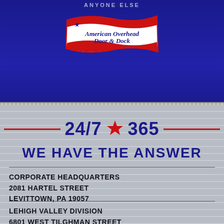ANYONE ELSE
[Figure (logo): American Overhead Door & Dock logo — waving banner/flag shape in red, white, and blue with a star, text reads 'American Overhead Door & Dock']
24/7 ★ 365
WE HAVE THE ANSWER
CORPORATE HEADQUARTERS
2081 HARTEL STREET
LEVITTOWN, PA 19057
LEHIGH VALLEY DIVISION
6801 WEST TILGHMAN STREET
UNIT 117